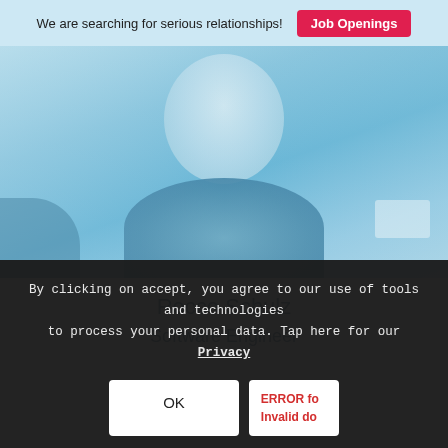We are searching for serious relationships! Job Openings
[Figure (photo): Blue-tinted portrait photo of Rocco Schulz, a man smiling, wearing a blue shirt, with a name badge visible at the right side.]
Rocco Schulz
Software Engineer
By clicking on accept, you agree to our use of tools and technologies to process your personal data. Tap here for our Privacy
OK
ERROR fo Invalid do